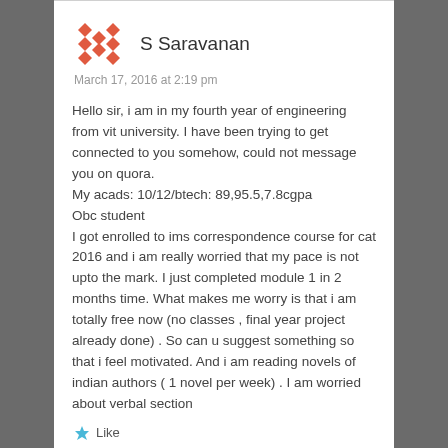S Saravanan
March 17, 2016 at 2:19 pm
Hello sir, i am in my fourth year of engineering from vit university. I have been trying to get connected to you somehow, could not message you on quora. My acads: 10/12/btech: 89,95.5,7.8cgpa
Obc student
I got enrolled to ims correspondence course for cat 2016 and i am really worried that my pace is not upto the mark. I just completed module 1 in 2 months time. What makes me worry is that i am totally free now (no classes , final year project already done) . So can u suggest something so that i feel motivated. And i am reading novels of indian authors ( 1 novel per week) . I am worried about verbal section
Like